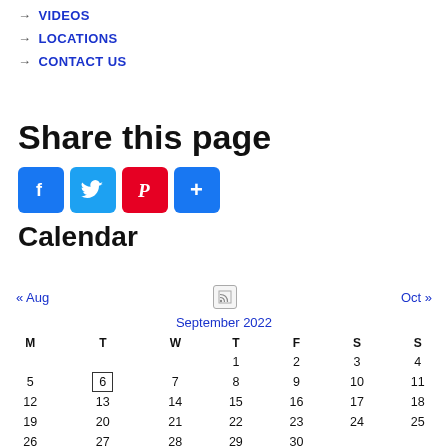→ VIDEOS
→ LOCATIONS
→ CONTACT US
Share this page
[Figure (infographic): Social share buttons: Facebook (blue), Twitter (light blue), Pinterest (red), More/Plus (blue)]
Calendar
| M | T | W | T | F | S | S |
| --- | --- | --- | --- | --- | --- | --- |
|  |  |  | 1 | 2 | 3 | 4 |
| 5 | 6 | 7 | 8 | 9 | 10 | 11 |
| 12 | 13 | 14 | 15 | 16 | 17 | 18 |
| 19 | 20 | 21 | 22 | 23 | 24 | 25 |
| 26 | 27 | 28 | 29 | 30 |  |  |
No events